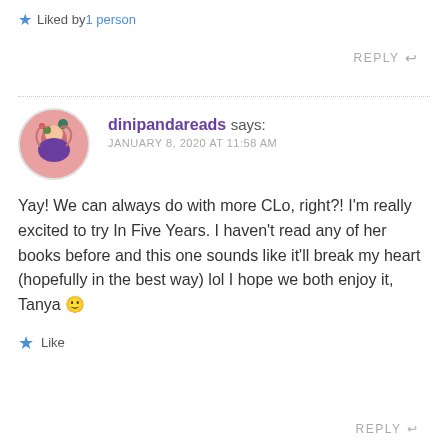★ Liked by 1 person
REPLY ↩
dinipandareads says: JANUARY 8, 2020 AT 11:58 AM
Yay! We can always do with more CLo, right?! I'm really excited to try In Five Years. I haven't read any of her books before and this one sounds like it'll break my heart (hopefully in the best way) lol I hope we both enjoy it, Tanya 🙂
★ Like
REPLY ↩